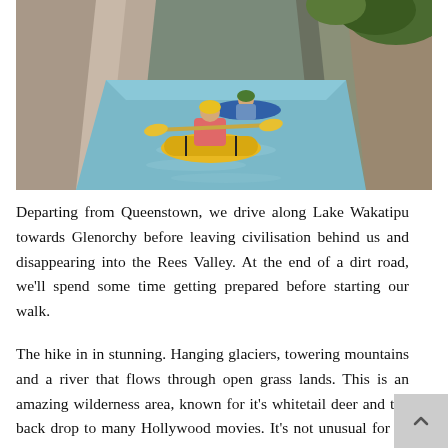[Figure (photo): Two kayakers paddling yellow and blue kayaks through a narrow rocky gorge with turquoise water. The foreground kayaker wears a yellow helmet and pink top. Tall rocky canyon walls rise on both sides with some green vegetation at top.]
Departing from Queenstown, we drive along Lake Wakatipu towards Glenorchy before leaving civilisation behind us and disappearing into the Rees Valley. At the end of a dirt road, we'll spend some time getting prepared before starting our walk.
The hike in in stunning. Hanging glaciers, towering mountains and a river that flows through open grass lands. This is an amazing wilderness area, known for it's whitetail deer and the back drop to many Hollywood movies. It's not unusual for us not